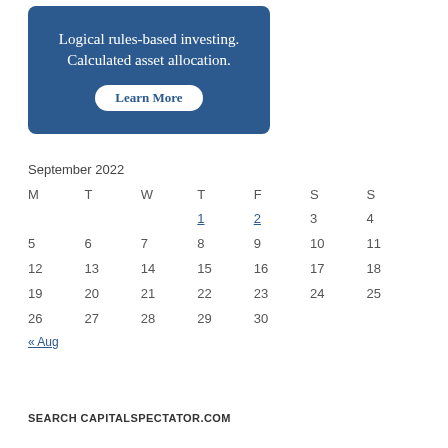[Figure (other): Advertisement banner with dark blue background, text 'Logical rules-based investing. Calculated asset allocation.' and a 'Learn More' button]
| M | T | W | T | F | S | S |
| --- | --- | --- | --- | --- | --- | --- |
|  |  |  | 1 | 2 | 3 | 4 |
| 5 | 6 | 7 | 8 | 9 | 10 | 11 |
| 12 | 13 | 14 | 15 | 16 | 17 | 18 |
| 19 | 20 | 21 | 22 | 23 | 24 | 25 |
| 26 | 27 | 28 | 29 | 30 |  |  |
« Aug
SEARCH CAPITALSPECTATOR.COM